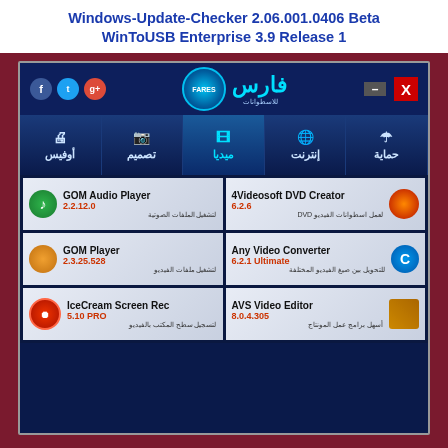Windows-Update-Checker 2.06.001.0406 Beta
WinToUSB Enterprise 3.9 Release 1
[Figure (screenshot): Arabic software collection installer screenshot showing social media icons (Facebook, Twitter, Google+), a logo with Arabic text 'Fares', navigation tabs in Arabic (حماية, إنترنت, ميديا, تصميم, أوفيس), and a grid of software items: GOM Audio Player 2.2.12.0, 4Videosoft DVD Creator 6.2.6, GOM Player 2.3.25.528, Any Video Converter 6.2.1 Ultimate, IceCream Screen Rec 5.10 PRO, AVS Video Editor 8.0.4.305]